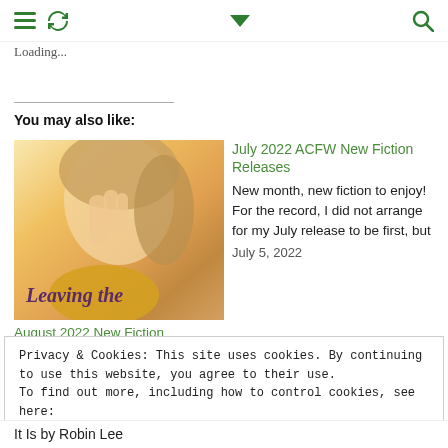≡ ↺ ∨ 🔍
Loading...
You may also like:
[Figure (photo): Book cover image showing a couple, with title 'Leaving the' visible at the bottom]
August 2022 New Fiction Releases
August 2, 2022
July 2022 ACFW New Fiction Releases
New month, new fiction to enjoy! For the record, I did not arrange for my July release to be first, but
July 5, 2022
Privacy & Cookies: This site uses cookies. By continuing to use this website, you agree to their use.
To find out more, including how to control cookies, see here:
Cookie Policy
Close and accept
It Is by Robin Lee